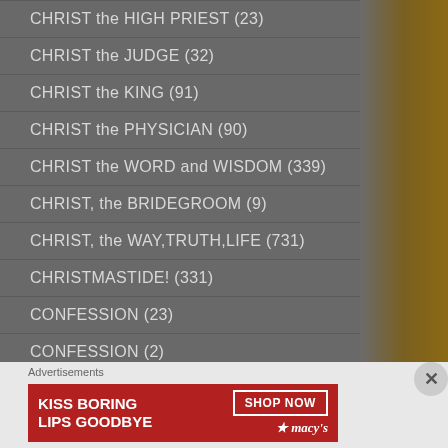CHRIST the HIGH PRIEST (23)
CHRIST the JUDGE (32)
CHRIST the KING (91)
CHRIST the PHYSICIAN (90)
CHRIST the WORD and WISDOM (339)
CHRIST, the BRIDEGROOM (9)
CHRIST, the WAY,TRUTH,LIFE (731)
CHRISTMASTIDE! (331)
CONFESSION (23)
CONFESSION (2)
CONFESSION/PENANCE (128)
[Figure (photo): Macy's advertisement banner: KISS BORING LIPS GOODBYE with woman's face and SHOP NOW button with Macy's star logo]